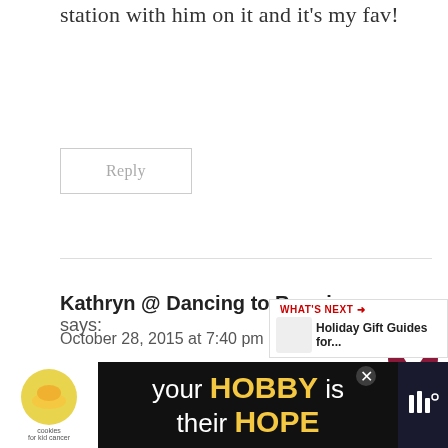station with him on it and it's my fav!
Reply
Kathryn @ Dancing to Running says:
October 28, 2015 at 7:40 pm
I'm due Christmas Eve, so my big goals over the next 8 weeks are to continue exercising as my body allows me to, and to not overindulge in holiday treats. I know that s… want to
[Figure (other): Advertisement banner: 'your HOBBY is their HOPE' with cookies for kid cancer logo]
[Figure (other): WHAT'S NEXT arrow: Holiday Gift Guides for... promotional widget]